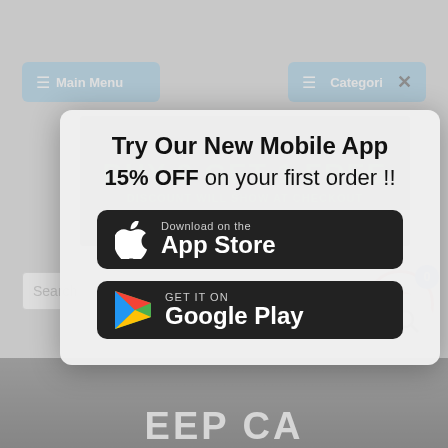[Figure (screenshot): Website screenshot background showing navigation bar with 'Main Menu' and 'Categories' buttons, a promotional banner with 'BUY 2 GET 1 FREE' and 'DISCOUNT WILL SHOW AT CHECKOUT', breadcrumb navigation, search bar, shopping cart icon with badge showing 0, search icon, and partial store logo at bottom.]
Try Our New Mobile App
15% OFF on your first order !!
[Figure (screenshot): App Store download button - black rounded rectangle with Apple logo and 'Download on the App Store' text]
[Figure (screenshot): Google Play download button - black rounded rectangle with Google Play triangle logo and 'GET IT ON Google Play' text]